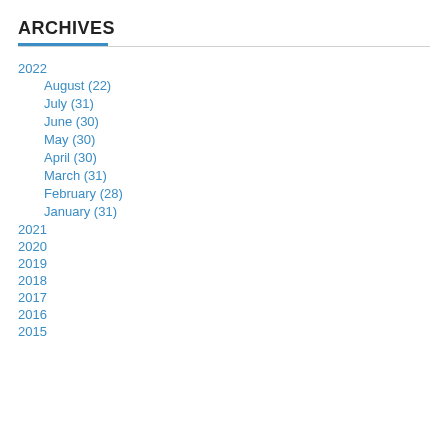ARCHIVES
2022
August (22)
July (31)
June (30)
May (30)
April (30)
March (31)
February (28)
January (31)
2021
2020
2019
2018
2017
2016
2015